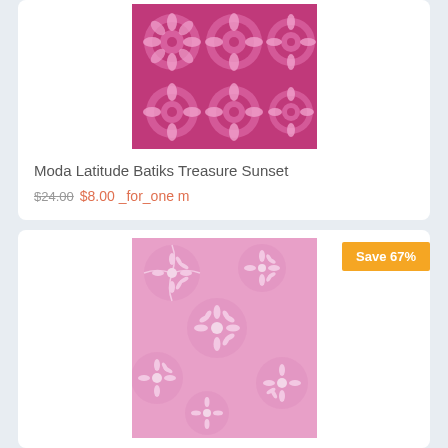[Figure (photo): Purple/magenta batik fabric with floral medallion tile pattern]
Moda Latitude Batiks Treasure Sunset
$24.00 $8.00 _for_one m
Save 67%
[Figure (photo): Pink batik fabric with swirling fern/leaf circular pattern]